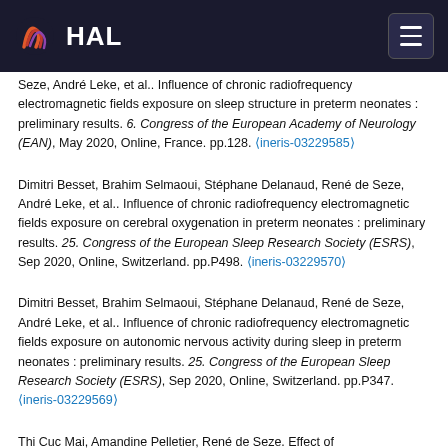HAL
Seze, André Leke, et al.. Influence of chronic radiofrequency electromagnetic fields exposure on sleep structure in preterm neonates : preliminary results. 6. Congress of the European Academy of Neurology (EAN), May 2020, Online, France. pp.128. ⟨ineris-03229585⟩
Dimitri Besset, Brahim Selmaoui, Stéphane Delanaud, René de Seze, André Leke, et al.. Influence of chronic radiofrequency electromagnetic fields exposure on cerebral oxygenation in preterm neonates : preliminary results. 25. Congress of the European Sleep Research Society (ESRS), Sep 2020, Online, Switzerland. pp.P498. ⟨ineris-03229570⟩
Dimitri Besset, Brahim Selmaoui, Stéphane Delanaud, René de Seze, André Leke, et al.. Influence of chronic radiofrequency electromagnetic fields exposure on autonomic nervous activity during sleep in preterm neonates : preliminary results. 25. Congress of the European Sleep Research Society (ESRS), Sep 2020, Online, Switzerland. pp.P347. ⟨ineris-03229569⟩
Thi Cuc Mai, Amandine Pelletier, René de Seze. Effect of